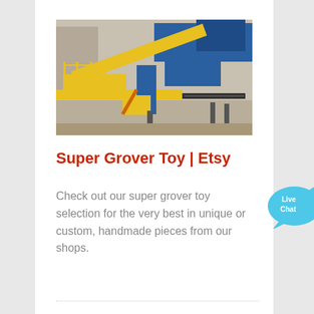[Figure (photo): Industrial mining/quarrying machinery with yellow conveyor belts and blue structural framework, photographed outdoors at a gravel or mining site.]
Super Grover Toy | Etsy
Check out our super grover toy selection for the very best in unique or custom, handmade pieces from our shops.
[Figure (infographic): Live Chat speech bubble icon in cyan/light blue with 'Live Chat' text and a small x close button in the upper right corner.]